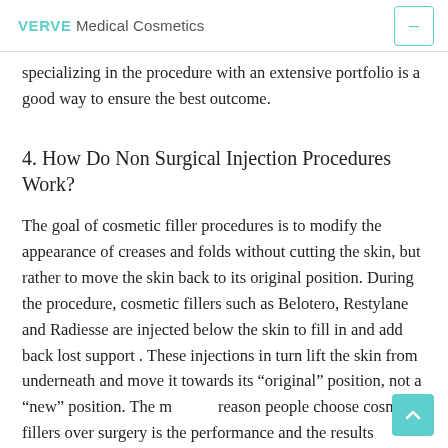VERVE Medical Cosmetics
specializing in the procedure with an extensive portfolio is a good way to ensure the best outcome.
4. How Do Non Surgical Injection Procedures Work?
The goal of cosmetic filler procedures is to modify the appearance of creases and folds without cutting the skin, but rather to move the skin back to its original position. During the procedure, cosmetic fillers such as Belotero, Restylane and Radiesse are injected below the skin to fill in and add back lost support . These injections in turn lift the skin from underneath and move it towards its “original” position, not a “new” position. The main reason people choose cosmetic fillers over surgery is that performance and the results delivered.